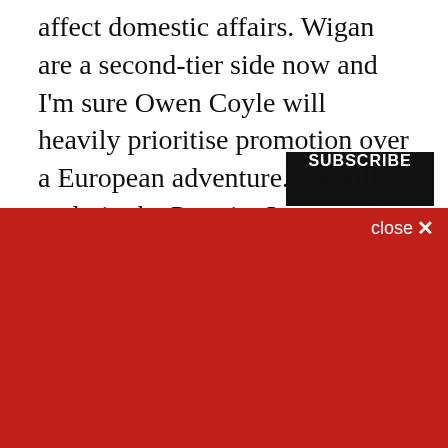affect domestic affairs. Wigan are a second-tier side now and I'm sure Owen Coyle will heavily prioritise promotion over a European adventure. It's still early in the Premier League season but even if we've been trying to calculate who will finish in the top eight, there could be some surprises in the top four. Arsenal have and trust Özil and Cazorla, Ramsey's revitalised,
close ×
Sign up for the Liverpool Offside Daily Roundup newsletter!
A daily roundup of Liverpool FC news from Liverpool Offside
Email (required)
SUBSCRIBE
By submitting your email, you agree to our Terms and Privacy Notice. You can opt out at any time. This site is protected by reCAPTCHA and the Google Privacy Policy and Terms of Service apply.